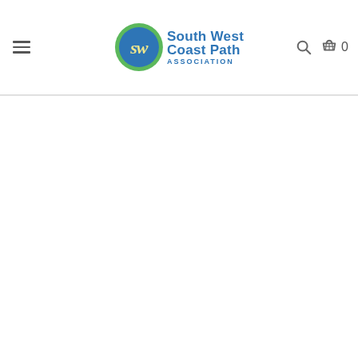[Figure (logo): South West Coast Path Association logo: circular badge with green border, blue fill, and 'SW' in stylized script, alongside text 'South West Coast Path ASSOCIATION' in blue bold sans-serif]
South West Coast Path Association website header with hamburger menu, logo, search icon, and shopping basket with count 0